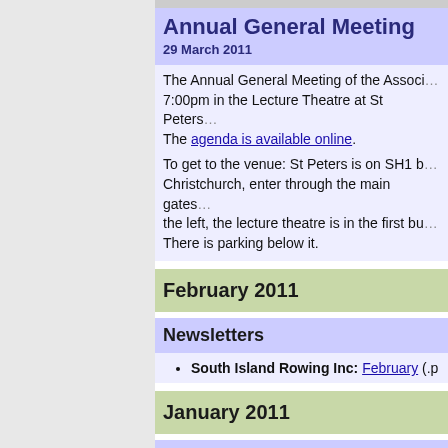Annual General Meeting
29 March 2011
The Annual General Meeting of the Association will be held on Tuesday 29 March 2011 at 7:00pm in the Lecture Theatre at St Peters School, Upper Riccarton, Christchurch. The agenda is available online.
To get to the venue: St Peters is on SH1 between Sockburn and Christchurch, enter through the main gates, the tennis courts will be on the left, the lecture theatre is in the first building on the left. There is parking below it.
February 2011
Newsletters
South Island Rowing Inc: February (.p...
January 2011
Newsletters
South Island Rowing Inc: January (.p...